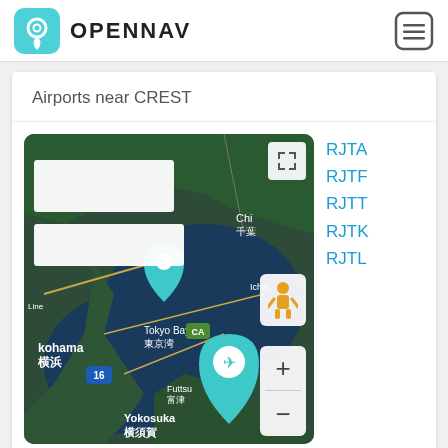OPENNAV
Airports near CREST
[Figure (map): Satellite map centered on Tokyo Bay area, Japan, showing Yokohama (横浜), Tokyo Bay (東京湾), Kimitsu (君津), Futtsu (富津), Yokosuka (横須賀), with a teal airplane pin marker, teal location pin, CA road marker, and route number 16. Map has fullscreen button, person/street view button, and zoom +/- controls.]
RJTA
RJTF
RJTT
RJTK
RJTL